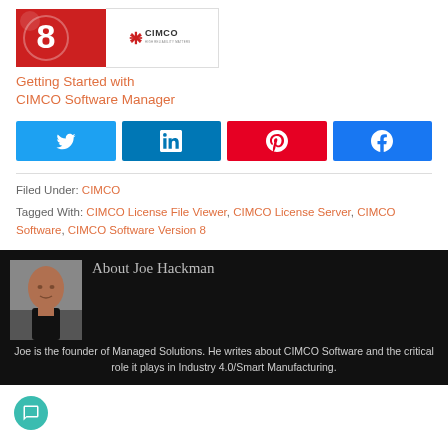[Figure (screenshot): Thumbnail image showing CIMCO Software 8 setup wizard with red background and number 8, alongside the CIMCO logo]
Getting Started with CIMCO Software Manager
[Figure (infographic): Social share buttons row: Twitter (blue), LinkedIn (dark blue), Pinterest (red), Facebook (blue)]
Filed Under: CIMCO
Tagged With: CIMCO License File Viewer, CIMCO License Server, CIMCO Software, CIMCO Software Version 8
[Figure (photo): Author box with photo of Joe Hackman (bald man in black shirt) on dark background]
About Joe Hackman
Joe is the founder of Managed Solutions. He writes about CIMCO Software and the critical role it plays in Industry 4.0/Smart Manufacturing.